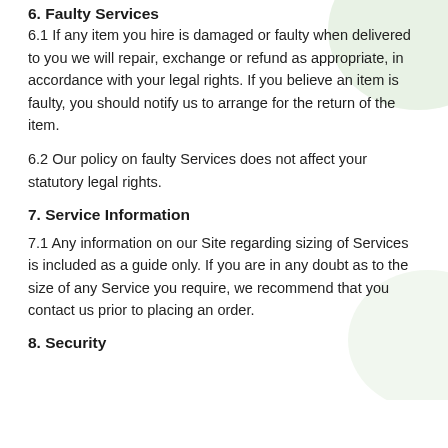6. Faulty Services
6.1 If any item you hire is damaged or faulty when delivered to you we will repair, exchange or refund as appropriate, in accordance with your legal rights. If you believe an item is faulty, you should notify us to arrange for the return of the item.
6.2 Our policy on faulty Services does not affect your statutory legal rights.
7. Service Information
7.1 Any information on our Site regarding sizing of Services is included as a guide only. If you are in any doubt as to the size of any Service you require, we recommend that you contact us prior to placing an order.
8. Security